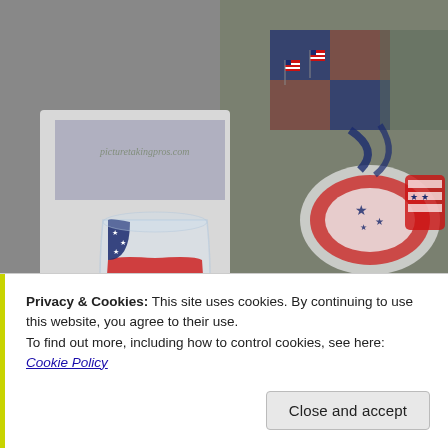[Figure (photo): Patriotic themed photo collage: left side shows a wine glass hand-painted with an American flag design, sitting on a red plate with a gray tile and red/white candy cane base. Right side shows a festive table setting with red, white and blue plates, cups, small American flags, and patriotic decoration. A partial text overlay reads 'Grand Old Flag with flag painted glas' in script and bold fonts.]
Privacy & Cookies: This site uses cookies. By continuing to use this website, you agree to their use.
To find out more, including how to control cookies, see here: Cookie Policy